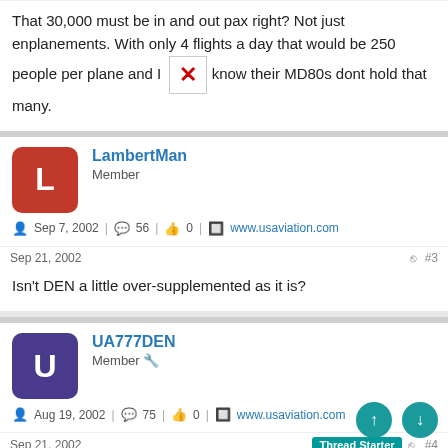That 30,000 must be in and out pax right? Not just enplanements. With only 4 flights a day that would be 250 people per plane and I know their MD80s dont hold that many.
LambertMan
Member
Sep 7, 2002  56  0  www.usaviation.com
Sep 21, 2002  #3
Isn't DEN a little over-supplemented as it is?
UA777DEN
Member
Aug 19, 2002  75  0  www.usaviation.com
Sep 21, 2002  Thread Starter  #4